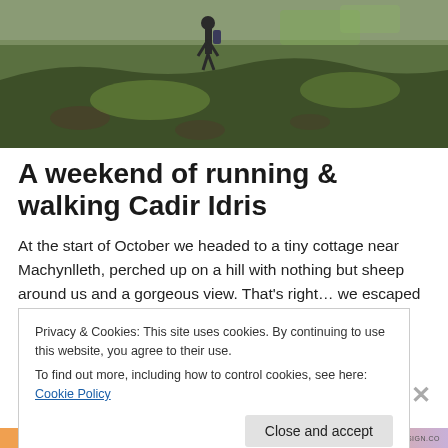[Figure (photo): A hiker standing on a grassy hillside with rocky terrain, green hills and fields visible in the background under an overcast sky.]
A weekend of running & walking Cadir Idris
At the start of October we headed to a tiny cottage near Machynlleth, perched up on a hill with nothing but sheep around us and a gorgeous view. That's right… we escaped
Privacy & Cookies: This site uses cookies. By continuing to use this website, you agree to their use.
To find out more, including how to control cookies, see here: Cookie Policy
Close and accept